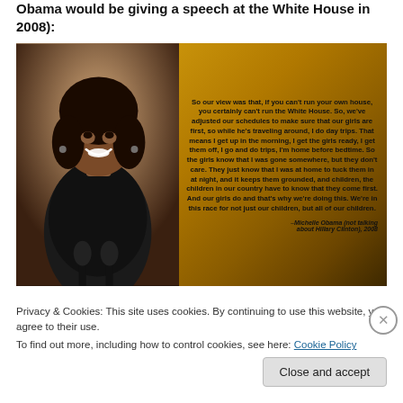Obama would be giving a speech at the White House in 2008):
[Figure (photo): Photo of Michelle Obama smiling in a black lace dress, standing at a podium with microphones, overlaid with a quote on a golden-brown background. Quote reads: 'So our view was that, if you can't run your own house, you certainly can't run the White House. So, we've adjusted our schedules to make sure that our girls are first, so while he's traveling around, I do day trips. That means I get up in the morning, I get the girls ready, I get them off, I go and do trips, I'm home before bedtime. So the girls know that I was gone somewhere, but they don't care. They just know that I was at home to tuck them in at night, and it keeps them grounded, and children, the children in our country have to know that they come first. And our girls do and that's why we're doing this. We're in this race for not just our children, but all of our children.' Attribution: –Michelle Obama (not talking about Hillary Clinton), 2008]
Privacy & Cookies: This site uses cookies. By continuing to use this website, you agree to their use.
To find out more, including how to control cookies, see here: Cookie Policy
Close and accept